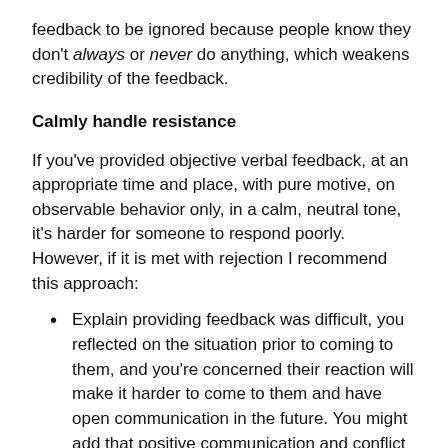feedback to be ignored because people know they don't always or never do anything, which weakens credibility of the feedback.
Calmly handle resistance
If you've provided objective verbal feedback, at an appropriate time and place, with pure motive, on observable behavior only, in a calm, neutral tone, it's harder for someone to respond poorly. However, if it is met with rejection I recommend this approach:
Explain providing feedback was difficult, you reflected on the situation prior to coming to them, and you're concerned their reaction will make it harder to come to them and have open communication in the future. You might add that positive communication and conflict resolution is critical to your collective success.